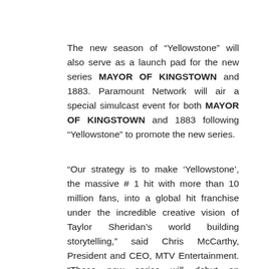The new season of “Yellowstone” will also serve as a launch pad for the new series MAYOR OF KINGSTOWN and 1883. Paramount Network will air a special simulcast event for both MAYOR OF KINGSTOWN and 1883 following “Yellowstone” to promote the new series.
“Our strategy is to make ‘Yellowstone’, the massive # 1 hit with more than 10 million fans, into a global hit franchise under the incredible creative vision of Taylor Sheridan’s world building storytelling,” said Chris McCarthy, President and CEO, MTV Entertainment. “These new series will debut on Paramount+ and have special premiere day sneak episodes behind ‘Yellowstone’ introducing this huge audience to these new stories, allowing us to leverage our linear platforms for driving awareness of Paramount+ while